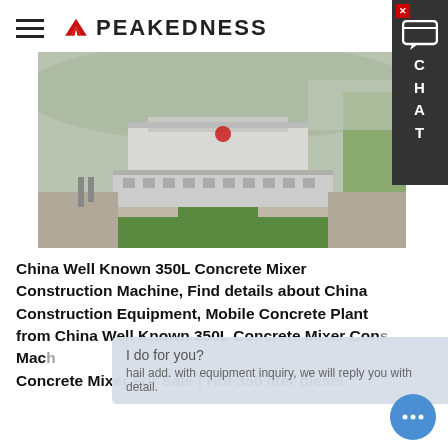PEAKEDNESS
[Figure (photo): Aerial photograph of a large industrial facility (concrete mixing plant) with buildings, paved roads, green lawn, and surrounding landscape.]
China Well Known 350L Concrete Mixer Construction Machine, Find details about China Construction Equipment, Mobile Concrete Plant from China Well Known 350L Concrete Mixer Construction Machine - Concrete Mixer For Sale | Hot 350 liter diesel
I do for you?
hail add. with equipment inquiry, we will reply you with detail.